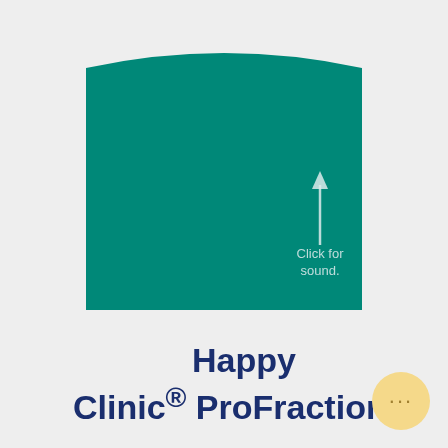[Figure (illustration): Large teal/green rounded rectangular shape occupying most of the upper portion of the page, with a curved top edge. Contains a white upward arrow and 'Click for sound.' text in light color at lower right of the teal area.]
Happy Clinic® ProFractional